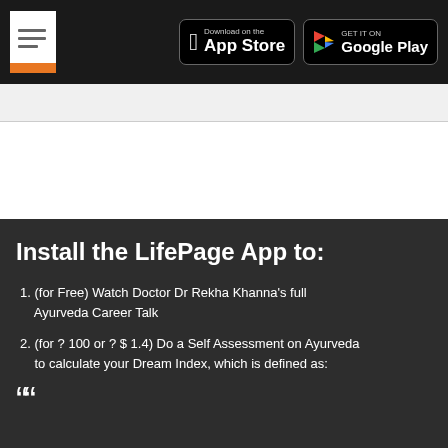Install the LifePage App — App Store / Google Play
[Figure (screenshot): Search bar / input field below header]
Install the LifePage App to:
1. (for Free) Watch Doctor Dr Rekha Khanna's full Ayurveda Career Talk
2. (for ? 100 or ? $ 1.4) Do a Self Assessment on Ayurveda to calculate your Dream Index, which is defined as:
““